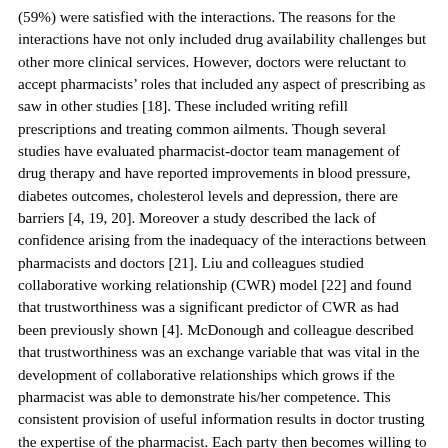(59%) were satisfied with the interactions. The reasons for the interactions have not only included drug availability challenges but other more clinical services. However, doctors were reluctant to accept pharmacists' roles that included any aspect of prescribing as saw in other studies [18]. These included writing refill prescriptions and treating common ailments. Though several studies have evaluated pharmacist-doctor team management of drug therapy and have reported improvements in blood pressure, diabetes outcomes, cholesterol levels and depression, there are barriers [4, 19, 20]. Moreover a study described the lack of confidence arising from the inadequacy of the interactions between pharmacists and doctors [21]. Liu and colleagues studied collaborative working relationship (CWR) model [22] and found that trustworthiness was a significant predictor of CWR as had been previously shown [4]. McDonough and colleague described that trustworthiness was an exchange variable that was vital in the development of collaborative relationships which grows if the pharmacist was able to demonstrate his/her competence. This consistent provision of useful information results in doctor trusting the expertise of the pharmacist. Each party then becomes willing to have open discussions about approaches relating to patient clinical management and about treating specific patients. A Cochrane review report had stated that the concept of collaboration, that is the process in which different professional groups work together, if successfully implemented, will have a positive impact on health